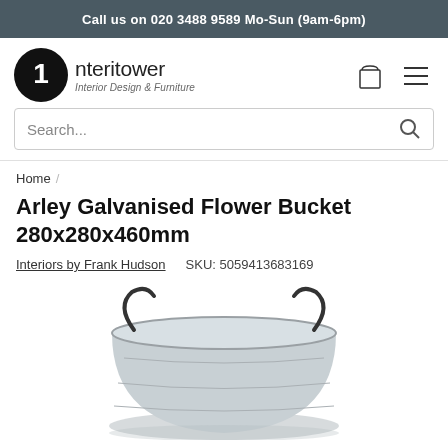Call us on 020 3488 9589 Mo-Sun (9am-6pm)
[Figure (logo): Interitower logo with black circular icon containing a white '1' and the text 'Interitower Interior Design & Furniture']
[Figure (other): Shopping bag icon and hamburger menu icon in top right header]
Search...
Home /
Arley Galvanised Flower Bucket 280x280x460mm
Interiors by Frank Hudson    SKU: 5059413683169
[Figure (photo): Bottom portion of a galvanised metal flower bucket with two wire handles visible against a white background]